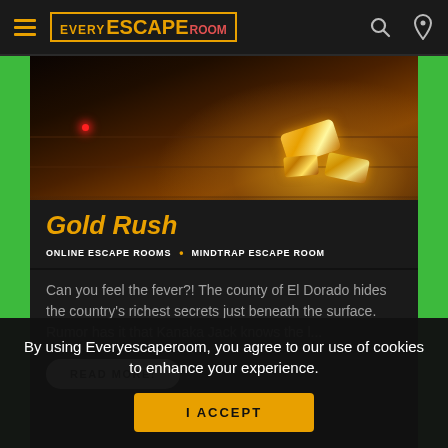Every Escape Room - navigation bar with logo, hamburger menu, search and location icons
[Figure (photo): Dark moody photo of wooden floor with golden glowing crystals/gold nuggets and a red laser dot, themed for a Gold Rush escape room]
Gold Rush
ONLINE ESCAPE ROOMS • MINDTRAP ESCAPE ROOM
Can you feel the fever?! The county of El Dorado hides the country's richest secrets just beneath the surface. Rumor has it that Kanaka Jack knows the l...
READ MORE!
By using Everyescaperoom, you agree to our use of cookies to enhance your experience.
I ACCEPT